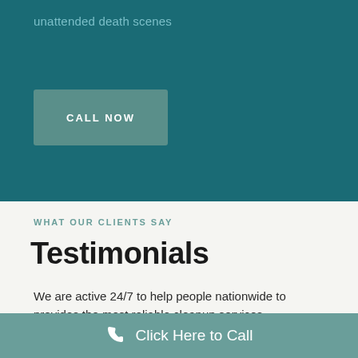unattended death scenes
CALL NOW
WHAT OUR CLIENTS SAY
Testimonials
We are active 24/7 to help people nationwide to provides the most reliable cleanup services.
Click Here to Call